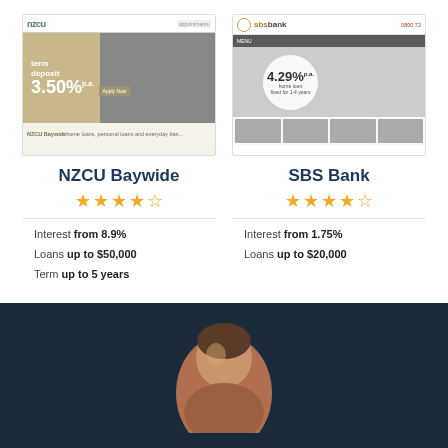[Figure (screenshot): Screenshot of NZCU Baywide website showing term deposit at 3.50% rate]
[Figure (screenshot): Screenshot of SBS Bank website showing 4.29% home loan rate fixed for 1-4 years]
NZCU Baywide
★★★★½ rating
Interest from 8.9%, Loans up to $50,000, Term up to 5 years
SBS Bank
★★★★½ rating
Interest from 1.75%, Loans up to $20,000
[Figure (photo): Person portrait photo on dark navy background, circular crop, bottom half of page]